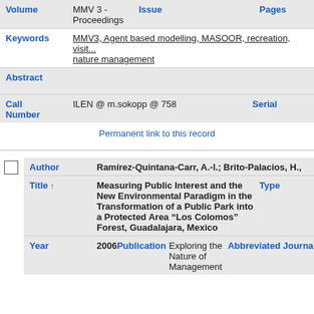| Field | Value | Field2 | Value2 |
| --- | --- | --- | --- |
| Volume | MMV 3 - Proceedings | Issue |  | Pages |  |
| Keywords | MMV3, Agent based modelling, MASOOR, recreation, visit... nature management |  |  |  |  |
| Abstract |  |  |  |  |  |
| Call Number | ILEN @ m.sokopp @ 758 | Serial |  |  |  |
Permanent link to this record
| Field | Value |
| --- | --- |
| Author | Ramírez-Quintana-Carr, A.-I.; Brito-Palacios, H., |
| Title ↑ | Measuring Public Interest and the New Environmental Paradigm in the Transformation of a Public Park into a Protected Area “Los Colomos” Forest, Guadalajara, Mexico | Type |  |
| Year | 2006 | Publication | Exploring the Nature of Management | Abbreviated Journal |  |